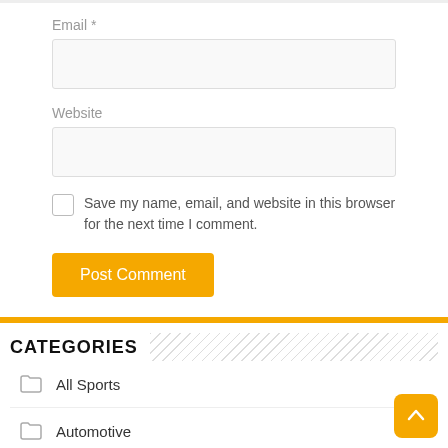Email *
Website
Save my name, email, and website in this browser for the next time I comment.
Post Comment
CATEGORIES
All Sports
Automotive
Football
Fund
Motorsport